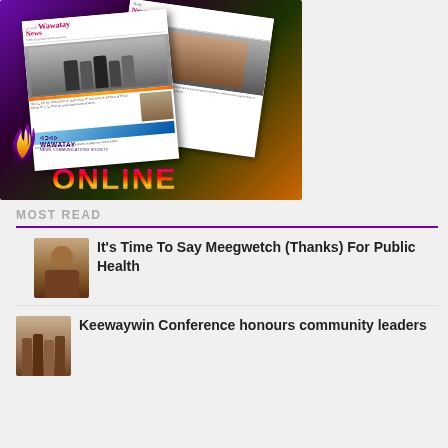[Figure (illustration): Wawatay News Online promotional banner showing two overlapping newspaper front pages against a purple/green/orange gradient background, with the Wawatay flame logo and 'ONLINE' text in large purple letters. Headlines visible: 'NABI Business Award winners' and 'street memorial'.]
MOST READ
It's Time To Say Meegwetch (Thanks) For Public Health
Keewaywin Conference honours community leaders